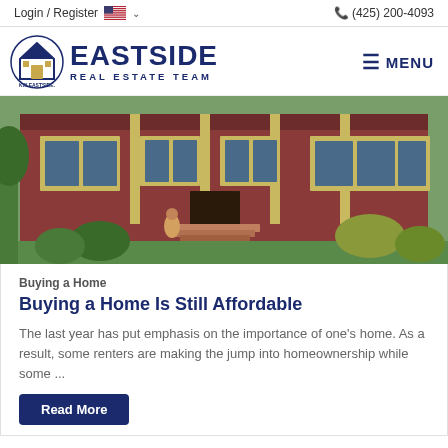Login / Register  🇺🇸 ▾   (425) 200-4093
[Figure (logo): KW Eastside Keller Williams Realty logo with house icon and EASTSIDE REAL ESTATE TEAM text. MENU button with hamburger icon on the right.]
[Figure (photo): Photo of a red craftsman-style house with green lawn, plants, and a person sitting on the front porch steps.]
Buying a Home
Buying a Home Is Still Affordable
The last year has put emphasis on the importance of one's home. As a result, some renters are making the jump into homeownership while some ...
Read More